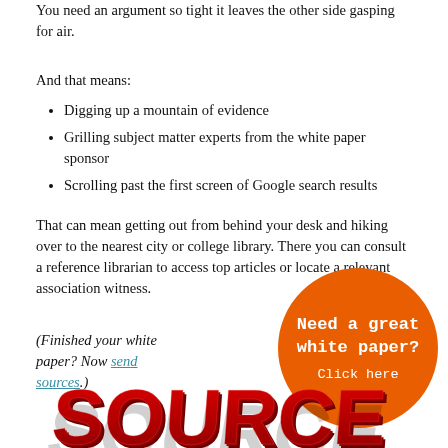You need an argument so tight it leaves the other side gasping for air.
And that means:
Digging up a mountain of evidence
Grilling subject matter experts from the white paper sponsor
Scrolling past the first screen of Google search results
That can mean getting out from behind your desk and hiking over to the nearest city or college library. There you can consult a reference librarian to access top articles or locate a relevant association witness.
(Finished your white paper? Now send sources.)
[Figure (infographic): Orange circle call-to-action button with text 'Need a great white paper? Click here']
[Figure (photo): 3D red letters spelling SOURCE at bottom of page]